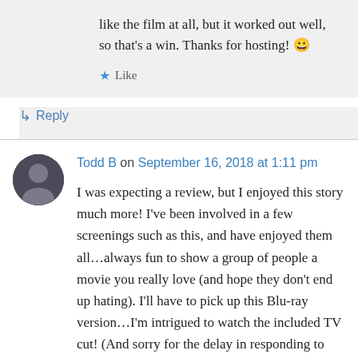like the film at all, but it worked out well, so that's a win. Thanks for hosting! 😀
★ Like
↳ Reply
Todd B on September 16, 2018 at 1:11 pm
I was expecting a review, but I enjoyed this story much more! I've been involved in a few screenings such as this, and have enjoyed them all...always fun to show a group of people a movie you really love (and hope they don't end up hating). I'll have to pick up this Blu-ray version...I'm intrigued to watch the included TV cut! (And sorry for the delay in responding to this